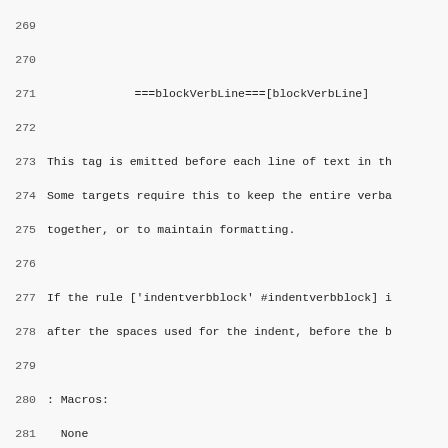Lines 270-299 of a verbatim/macro documentation page showing blockVerbLine, blockVerbSep, and blockVerbClose sections with line numbers, descriptions, and Macros: None entries.